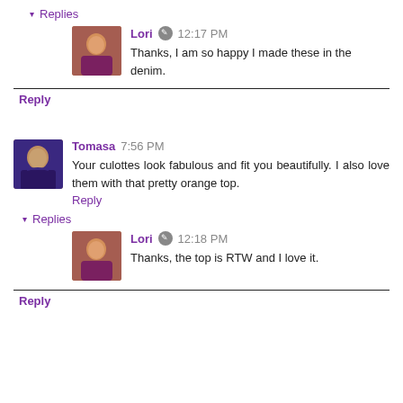▾ Replies
[Figure (photo): Avatar photo of Lori - woman in colorful top]
Lori ✎ 12:17 PM
Thanks, I am so happy I made these in the denim.
Reply
[Figure (photo): Avatar photo of Tomasa - woman with dark hair]
Tomasa 7:56 PM
Your culottes look fabulous and fit you beautifully. I also love them with that pretty orange top.
Reply
▾ Replies
[Figure (photo): Avatar photo of Lori - woman in colorful top]
Lori ✎ 12:18 PM
Thanks, the top is RTW and I love it.
Reply